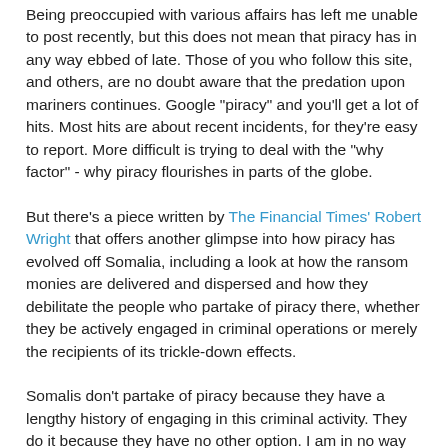Being preoccupied with various affairs has left me unable to post recently, but this does not mean that piracy has in any way ebbed of late. Those of you who follow this site, and others, are no doubt aware that the predation upon mariners continues. Google "piracy" and you'll get a lot of hits. Most hits are about recent incidents, for they're easy to report. More difficult is trying to deal with the "why factor" - why piracy flourishes in parts of the globe.
But there's a piece written by The Financial Times' Robert Wright that offers another glimpse into how piracy has evolved off Somalia, including a look at how the ransom monies are delivered and dispersed and how they debilitate the people who partake of piracy there, whether they be actively engaged in criminal operations or merely the recipients of its trickle-down effects.
Somalis don't partake of piracy because they have a lengthy history of engaging in this criminal activity. They do it because they have no other option. I am in no way condoning their actions - which I find abhorrent - but offering the opinion that in the absence of any other means of